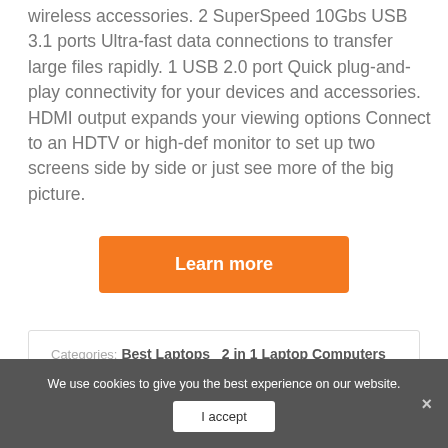wireless accessories. 2 SuperSpeed 10Gbs USB 3.1 ports Ultra-fast data connections to transfer large files rapidly. 1 USB 2.0 port Quick plug-and-play connectivity for your devices and accessories. HDMI output expands your viewing options Connect to an HDTV or high-def monitor to set up two screens side by side or just see more of the big picture.
Learn more
Categories: Best Laptops  2 in 1 Laptop Computers
We use cookies to give you the best experience on our website.
I accept